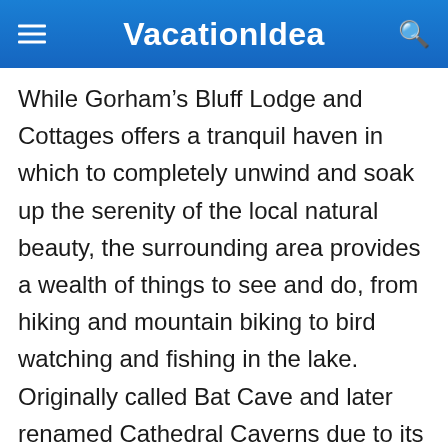VacationIdea
While Gorham's Bluff Lodge and Cottages offers a tranquil haven in which to completely unwind and soak up the serenity of the local natural beauty, the surrounding area provides a wealth of things to see and do, from hiking and mountain biking to bird watching and fishing in the lake. Originally called Bat Cave and later renamed Cathedral Caverns due to its cathedral-like appearance, this State Park is located in Kennamer Cove and is a popular tourist attraction. The cavern is home to some spectacular formations, including 'Goliath,' one of the